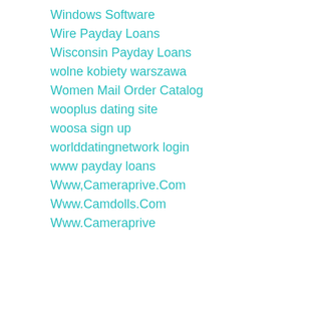Windows Software
Wire Payday Loans
Wisconsin Payday Loans
wolne kobiety warszawa
Women Mail Order Catalog
wooplus dating site
woosa sign up
worlddatingnetwork login
www payday loans
Www,Cameraprive.Com
Www.Camdolls.Com
Www.Cameraprive